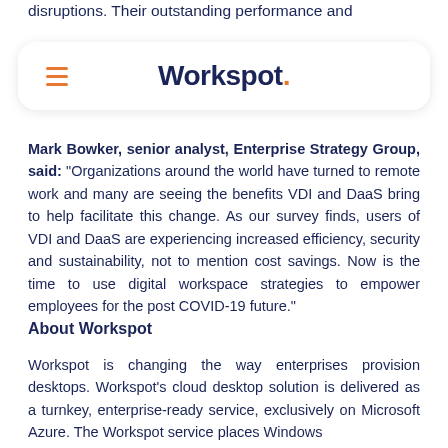disruptions. Their outstanding performance and
[Figure (logo): Workspot logo with hamburger menu icon on the left and 'Workspot.' text in dark navy blue with an orange period on the right, inside a white rounded rectangle card with shadow.]
Mark Bowker, senior analyst, Enterprise Strategy Group, said: “Organizations around the world have turned to remote work and many are seeing the benefits VDI and DaaS bring to help facilitate this change. As our survey finds, users of VDI and DaaS are experiencing increased efficiency, security and sustainability, not to mention cost savings. Now is the time to use digital workspace strategies to empower employees for the post COVID-19 future.”
About Workspot
Workspot is changing the way enterprises provision desktops. Workspot’s cloud desktop solution is delivered as a turnkey, enterprise-ready service, exclusively on Microsoft Azure. The Workspot service places Windows